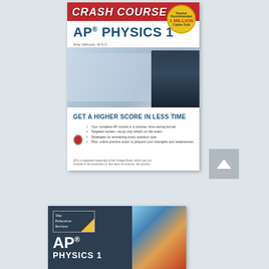[Figure (photo): Book cover: REA Crash Course AP Physics 1 by Amy Johnson M.S.C. Shows a student studying. Red banner with 'CRASH COURSE' text and '1 Million Copies Sold' gold badge. Blue title 'AP PHYSICS 1'. Tagline 'GET A HIGHER SCORE IN LESS TIME' with bullet points about course features.]
[Figure (photo): Book cover: The Princeton Review AP Physics 1 prep book. Dark background with white text showing 'AP' large and 'PHYSICS' below. Princeton Review logo badge with yellow accent. Right side shows action photo with colorful background.]